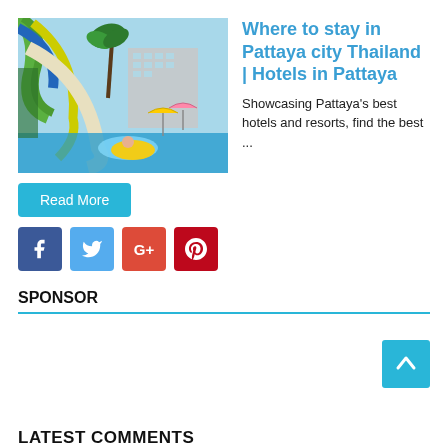[Figure (photo): Water park scene with a water slide, person on a yellow inflatable tube in the splash pool, tropical trees and a resort building in the background with colorful umbrellas.]
Where to stay in Pattaya city Thailand | Hotels in Pattaya
Showcasing Pattaya's best hotels and resorts, find the best ...
Read More
[Figure (infographic): Social media sharing icons: Facebook, Twitter, Google+, Pinterest]
SPONSOR
LATEST COMMENTS